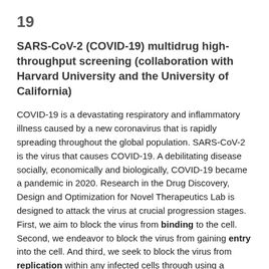19
SARS-CoV-2 (COVID-19) multidrug high-throughput screening (collaboration with Harvard University and the University of California)
COVID-19 is a devastating respiratory and inflammatory illness caused by a new coronavirus that is rapidly spreading throughout the global population. SARS-CoV-2 is the virus that causes COVID-19. A debilitating disease socially, economically and biologically, COVID-19 became a pandemic in 2020. Research in the Drug Discovery, Design and Optimization for Novel Therapeutics Lab is designed to attack the virus at crucial progression stages. First, we aim to block the virus from binding to the cell. Second, we endeavor to block the virus from gaining entry into the cell. And third, we seek to block the virus from replication within any infected cells through using a combination of drugs targeting all three of those stages, simultaneously.